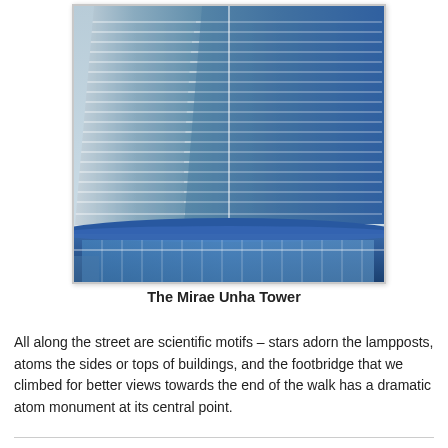[Figure (photo): Upward-angle photograph of the Mirae Unha Tower, a modern curved skyscraper with horizontal striped facade and a glass podium base. The building features curved facades meeting at a sharp angle, with blue glass and alternating light and dark horizontal bands across the floors.]
The Mirae Unha Tower
All along the street are scientific motifs – stars adorn the lampposts, atoms the sides or tops of buildings, and the footbridge that we climbed for better views towards the end of the walk has a dramatic atom monument at its central point.